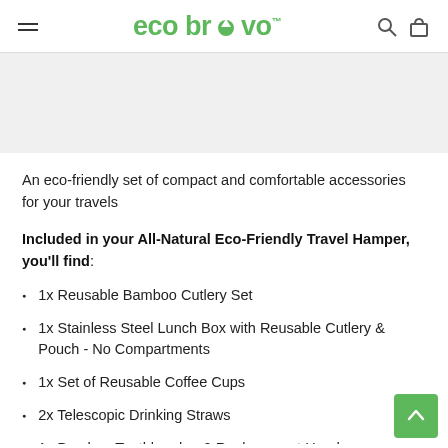eco bravo
An eco-friendly set of compact and comfortable accessories for your travels
Included in your All-Natural Eco-Friendly Travel Hamper, you'll find:
1x Reusable Bamboo Cutlery Set
1x Stainless Steel Lunch Box with Reusable Cutlery & Pouch - No Compartments
1x Set of Reusable Coffee Cups
2x Telescopic Drinking Straws
1x Bamboo Toothbrush + 2 Replacement Heads